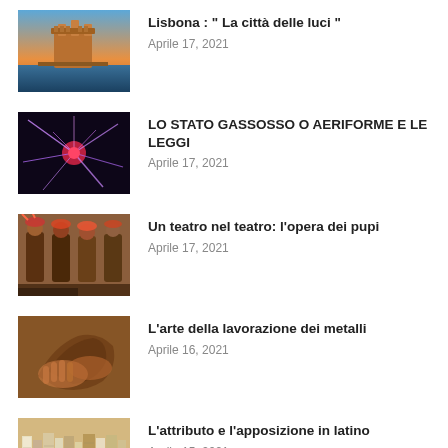Lisbona : “ La città delle luci ” | Aprile 17, 2021
LO STATO GASSOSSO O AERIFORME E LE LEGGI | Aprile 17, 2021
Un teatro nel teatro: l’opera dei pupi | Aprile 17, 2021
L’arte della lavorazione dei metalli | Aprile 16, 2021
L’attributo e l’apposizione in latino | Aprile 15, 2021